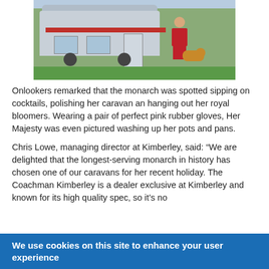[Figure (photo): A woman in a red dress sitting in a folding chair outside a grey caravan on green grass, with a corgi dog beside her.]
Onlookers remarked that the monarch was spotted sipping on cocktails, polishing her caravan an hanging out her royal bloomers. Wearing a pair of perfect pink rubber gloves, Her Majesty was even pictured washing up her pots and pans.
Chris Lowe, managing director at Kimberley, said: “We are delighted that the longest-serving monarch in history has chosen one of our caravans for her recent holiday. The Coachman Kimberley is a dealer exclusive at Kimberley and known for its high quality spec, so it’s no
We use cookies on this site to enhance your user experience